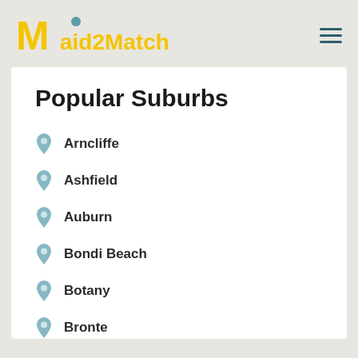Maid2Match
Popular Suburbs
Arncliffe
Ashfield
Auburn
Bondi Beach
Botany
Bronte
Burwood
Cammeray